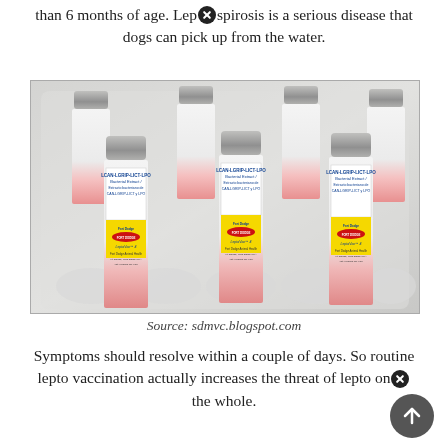than 6 months of age. Leptospirosis is a serious disease that dogs can pick up from the water.
[Figure (photo): Six vaccine vials labeled LCAN-LGRIP-LICT-LPOM Bacterial Extract / Extracto bacteriano de CAN-LGRIP-LICT y LPOM, Fort Dodge Animal Health, LeptaVax 4, arranged in two rows in a plastic tray with silver caps and yellow labels with red ovals]
Source: sdmvc.blogspot.com
Symptoms should resolve within a couple of days. So routine lepto vaccination actually increases the threat of lepto on the whole.